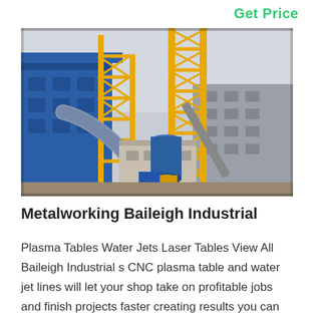Get Price
[Figure (photo): Industrial metalworking facility with large yellow steel structures, blue building facade, conveyor belts, and industrial processing equipment including cylindrical tanks and ductwork against a grey sky.]
Metalworking Baileigh Industrial
Plasma Tables Water Jets Laser Tables View All Baileigh Industrial s CNC plasma table and water jet lines will let your shop take on profitable jobs and finish projects faster creating results you can be proud of Our